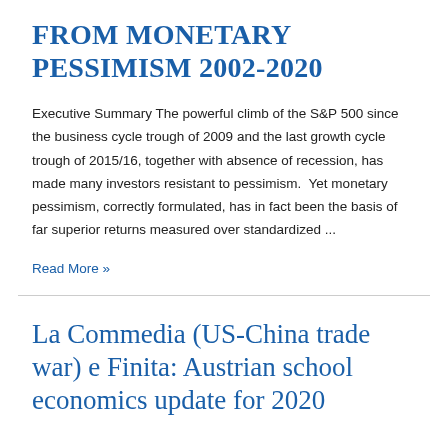FROM MONETARY PESSIMISM 2002-2020
Executive Summary The powerful climb of the S&P 500 since the business cycle trough of 2009 and the last growth cycle trough of 2015/16, together with absence of recession, has made many investors resistant to pessimism.  Yet monetary pessimism, correctly formulated, has in fact been the basis of far superior returns measured over standardized ...
Read More »
La Commedia (US-China trade war) e Finita: Austrian school economics update for 2020